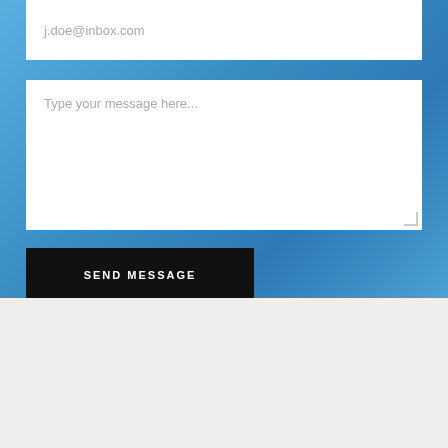j.doe@inbox.com
Type your message here...
SEND MESSAGE
HOME   ABOUT US   OUR SERVICES   COMPLETED TRANSACTIONS   FAQS   CONTACT US
Copyright 2020 Berman Capital, LLC, all rights reserved. Member SIPC/FINRA. Broker Check. Privacy Policy. Business Continuity Plan.